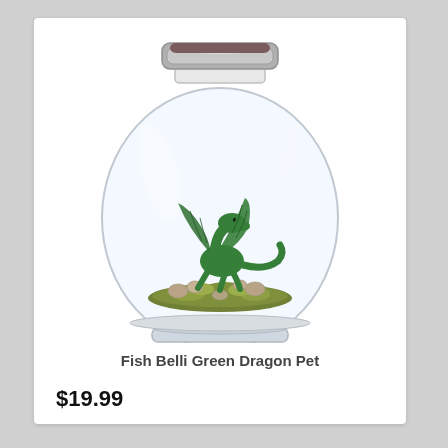[Figure (photo): A small green dragon figurine inside a round glass jar with a silver metal lid. The dragon sits on a bed of moss and small stones inside the jar.]
Fish Belli Green Dragon Pet
$19.99